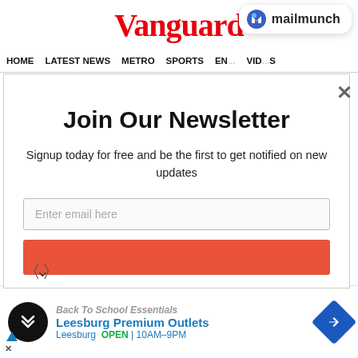Vanguard
≡ Menu
[Figure (logo): Mailmunch logo badge with blue M icon and text 'mailmunch']
HOME  LATEST NEWS  METRO  SPORTS  ENTERTAINMENT  VIDEOS
Join Our Newsletter
Signup today for free and be the first to get notified on new updates
Enter email here
Back To School Essentials
Leesburg Premium Outlets
Leesburg  OPEN | 10AM-9PM